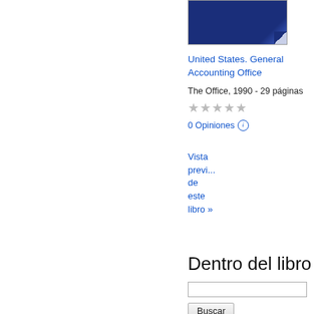[Figure (illustration): Book cover thumbnail showing a dark navy blue cover with a page curl effect at the bottom right corner]
United States. General Accounting Office
The Office, 1990 - 29 páginas
★★★★★ (5 empty stars)
0 Opiniones ℹ
Vista previa de este libro »
Dentro del libro
[search input box]
Buscar